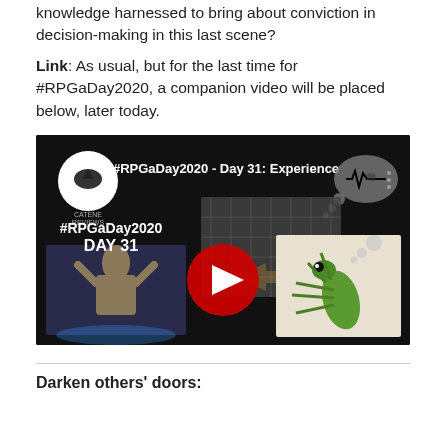knowledge harnessed to bring about conviction in decision-making in this last scene?
Link: As usual, but for the last time for #RPGaDay2020, a companion video will be placed below, later today.
[Figure (screenshot): YouTube video thumbnail for #RPGaDay2020 - Day 31: Experience. Shows text '#RPGaDay2020 DAY 31', a play button, images of a performer, a praying mantis, a game map, and a heart monitor thought bubble icon.]
Darken others' doors: